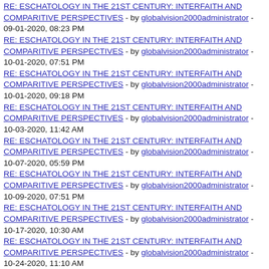RE: ESCHATOLOGY IN THE 21ST CENTURY: INTERFAITH AND COMPARITIVE PERSPECTIVES - by globalvision2000administrator - 09-01-2020, 08:23 PM
RE: ESCHATOLOGY IN THE 21ST CENTURY: INTERFAITH AND COMPARITIVE PERSPECTIVES - by globalvision2000administrator - 10-01-2020, 07:51 PM
RE: ESCHATOLOGY IN THE 21ST CENTURY: INTERFAITH AND COMPARITIVE PERSPECTIVES - by globalvision2000administrator - 10-01-2020, 09:18 PM
RE: ESCHATOLOGY IN THE 21ST CENTURY: INTERFAITH AND COMPARITIVE PERSPECTIVES - by globalvision2000administrator - 10-03-2020, 11:42 AM
RE: ESCHATOLOGY IN THE 21ST CENTURY: INTERFAITH AND COMPARITIVE PERSPECTIVES - by globalvision2000administrator - 10-07-2020, 05:59 PM
RE: ESCHATOLOGY IN THE 21ST CENTURY: INTERFAITH AND COMPARITIVE PERSPECTIVES - by globalvision2000administrator - 10-09-2020, 07:51 PM
RE: ESCHATOLOGY IN THE 21ST CENTURY: INTERFAITH AND COMPARITIVE PERSPECTIVES - by globalvision2000administrator - 10-17-2020, 10:30 AM
RE: ESCHATOLOGY IN THE 21ST CENTURY: INTERFAITH AND COMPARITIVE PERSPECTIVES - by globalvision2000administrator - 10-24-2020, 11:10 AM
RE: ESCHATOLOGY IN THE 21ST CENTURY: INTERFAITH AND COMPARITIVE PERSPECTIVES - by